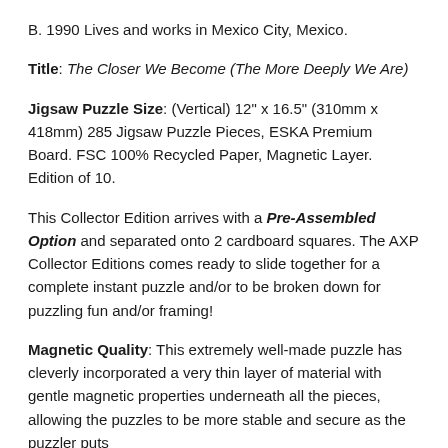B. 1990 Lives and works in Mexico City, Mexico.
Title: The Closer We Become (The More Deeply We Are)
Jigsaw Puzzle Size: (Vertical) 12" x 16.5" (310mm x 418mm) 285 Jigsaw Puzzle Pieces, ESKA Premium Board. FSC 100% Recycled Paper, Magnetic Layer. Edition of 10.
This Collector Edition arrives with a Pre-Assembled Option and separated onto 2 cardboard squares. The AXP Collector Editions comes ready to slide together for a complete instant puzzle and/or to be broken down for puzzling fun and/or framing!
Magnetic Quality: This extremely well-made puzzle has cleverly incorporated a very thin layer of material with gentle magnetic properties underneath all the pieces, allowing the puzzles to be more stable and secure as the puzzler puts